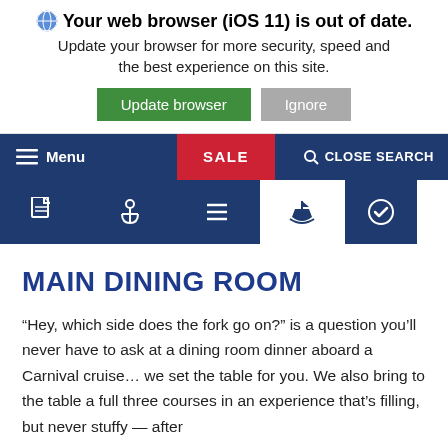Your web browser (iOS 11) is out of date. Update your browser for more security, speed and the best experience on this site. Update browser  Ignore
[Figure (screenshot): Navigation bar with hamburger menu, SALE button (red), and CLOSE SEARCH button on dark blue background]
[Figure (screenshot): Icon bar with document, anchor, list, boat icons on dark blue background and checkmark icon on right]
MAIN DINING ROOM
“Hey, which side does the fork go on?” is a question you’ll never have to ask at a dining room dinner aboard a Carnival cruise… we set the table for you. We also bring to the table a full three courses in an experience that’s filling, but never stuffy — after